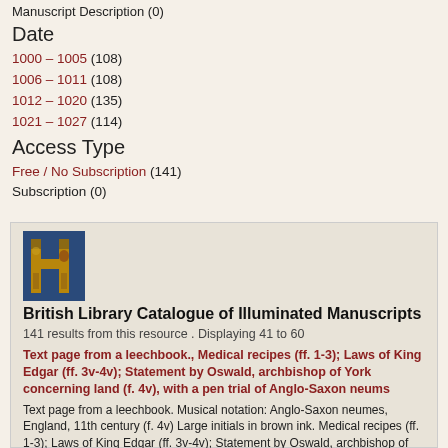Manuscript Description (0)
Date
1000 – 1005 (108)
1006 – 1011 (108)
1012 – 1020 (135)
1021 – 1027 (114)
Access Type
Free / No Subscription (141)
Subscription (0)
[Figure (illustration): Illuminated manuscript initial letter with brown and gold decoration on blue background]
British Library Catalogue of Illuminated Manuscripts
141 results from this resource . Displaying 41 to 60
Text page from a leechbook., Medical recipes (ff. 1-3); Laws of King Edgar (ff. 3v-4v); Statement by Oswald, archbishop of York concerning land (f. 4v), with a pen trial of Anglo-Saxon neums
Text page from a leechbook. Musical notation: Anglo-Saxon neumes, England, 11th century (f. 4v) Large initials in brown ink. Medical recipes (ff. 1-3); Laws of King Edgar (ff. 3v-4v); Statement by Oswald, archbishop of York concerning land (f. 4v),